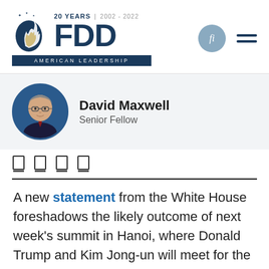[Figure (logo): FDD (Foundation for Defense of Democracies) logo with '20 YEARS | 2002-2022' text and 'AMERICAN LEADERSHIP' banner below. Navy blue FDD letters with stylized flame/shield icon to the left.]
[Figure (photo): Circular headshot photo of David Maxwell, a man wearing glasses and a suit with a red tie, against a blue background.]
David Maxwell
Senior Fellow
[Figure (infographic): Social media sharing icons (four square icons with underlines representing share buttons)]
A new statement from the White House foreshadows the likely outcome of next week's summit in Hanoi, where Donald Trump and Kim Jong-un will meet for the second time. After